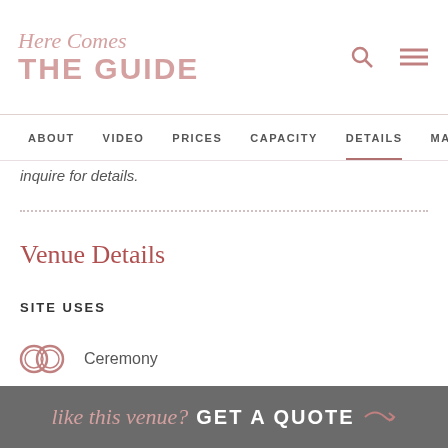Here Comes THE GUIDE
ABOUT  VIDEO  PRICES  CAPACITY  DETAILS  MAP
inquire for details.
Venue Details
SITE USES
Ceremony
like this venue? GET A QUOTE